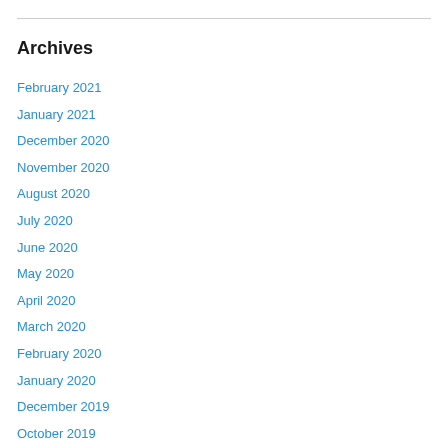Archives
February 2021
January 2021
December 2020
November 2020
August 2020
July 2020
June 2020
May 2020
April 2020
March 2020
February 2020
January 2020
December 2019
October 2019
September 2019
August 2019